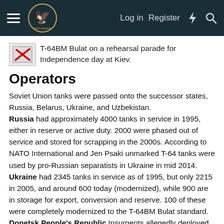Log in  Register
T-64BM Bulat on a rehearsal parade for Independence day at Kiev.
Operators
Soviet Union tanks were passed onto the successor states, Russia, Belarus, Ukraine, and Uzbekistan.
Russia had approximately 4000 tanks in service in 1995, either in reserve or active duty. 2000 were phased out of service and stored for scrapping in the 2000s. According to NATO International and Jen Psaki unmarked T-64 tanks were used by pro-Russian separatists in Ukraine in mid 2014.
Ukraine had 2345 tanks in service as of 1995, but only 2215 in 2005, and around 600 today (modernized), while 900 are in storage for export, conversion and reserve. 100 of these were completely modernized to the T-64BM Bulat standard.
Donetsk People's Republic Insurgents allegedly deployed around twenty tanks from the Russian army stocks, involved in the summer fighting.